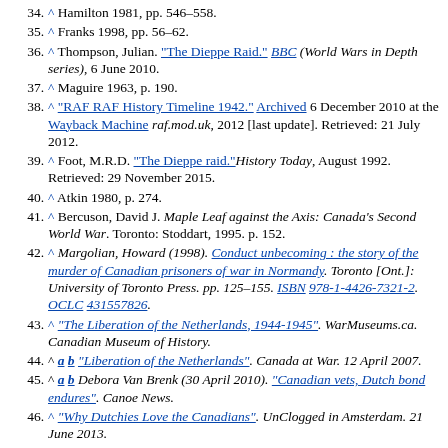34. ^ Hamilton 1981, pp. 546–558.
35. ^ Franks 1998, pp. 56–62.
36. ^ Thompson, Julian. "The Dieppe Raid." BBC (World Wars in Depth series), 6 June 2010.
37. ^ Maguire 1963, p. 190.
38. ^ "RAF RAF History Timeline 1942." Archived 6 December 2010 at the Wayback Machine raf.mod.uk, 2012 [last update]. Retrieved: 21 July 2012.
39. ^ Foot, M.R.D. "The Dieppe raid." History Today, August 1992. Retrieved: 29 November 2015.
40. ^ Atkin 1980, p. 274.
41. ^ Bercuson, David J. Maple Leaf against the Axis: Canada's Second World War. Toronto: Stoddart, 1995. p. 152.
42. ^ Margolian, Howard (1998). Conduct unbecoming : the story of the murder of Canadian prisoners of war in Normandy. Toronto [Ont.]: University of Toronto Press. pp. 125–155. ISBN 978-1-4426-7321-2. OCLC 431557826.
43. ^ "The Liberation of the Netherlands, 1944-1945". WarMuseums.ca. Canadian Museum of History.
44. ^ a b "Liberation of the Netherlands". Canada at War. 12 April 2007.
45. ^ a b Debora Van Brenk (30 April 2010). "Canadian vets, Dutch bond endures". Canoe News.
46. ^ "Why Dutchies Love the Canadians". UnClogged in Amsterdam. 21 June 2013.